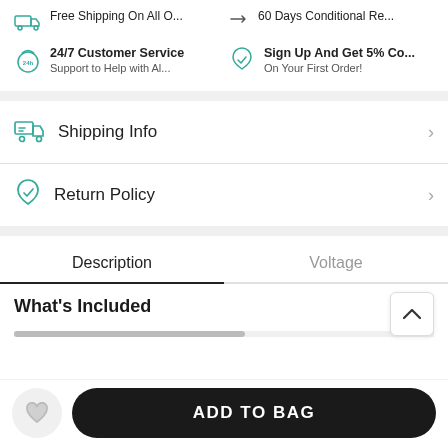Free Shipping On All O...
60 Days Conditional Re...
24/7 Customer Service — Support to Help with Al...
Sign Up And Get 5% Co... On Your First Order!
Shipping Info
Return Policy
Description
Voltage
What's Included
ADD TO BAG